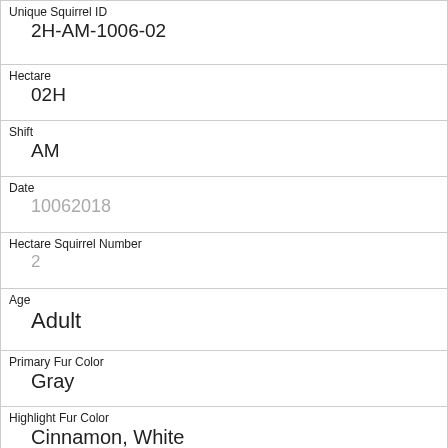| Unique Squirrel ID | 2H-AM-1006-02 |
| Hectare | 02H |
| Shift | AM |
| Date | 10062018 |
| Hectare Squirrel Number | 2 |
| Age | Adult |
| Primary Fur Color | Gray |
| Highlight Fur Color | Cinnamon, White |
| Combination of Primary and Highlight Color | Gray+Cinnamon, White |
| Color notes |  |
| Location |  |